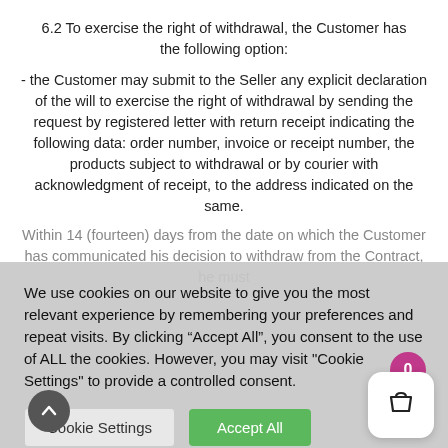6.2 To exercise the right of withdrawal, the Customer has the following option:
- the Customer may submit to the Seller any explicit declaration of the will to exercise the right of withdrawal by sending the request by registered letter with return receipt indicating the following data: order number, invoice or receipt number, the products subject to withdrawal or by courier with acknowledgment of receipt, to the address indicated on the same.
Within 14 (fourteen) days from the date on which the Customer has communicated his decision to withdraw from the Contract, he must
We use cookies on our website to give you the most relevant experience by remembering your preferences and repeat visits. By clicking “Accept All”, you consent to the use of ALL the cookies. However, you may visit "Cookie Settings" to provide a controlled consent.